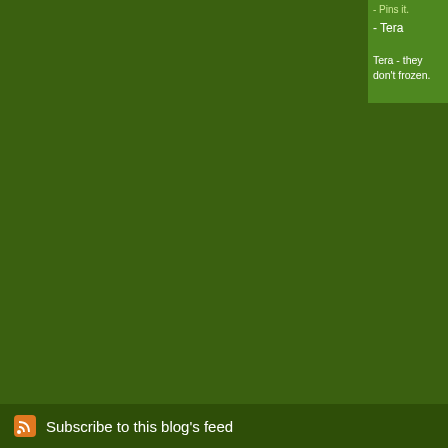- Pins it.
- Tera
Tera - they don't frozen.
The comments to t
Pi
Sonoran Hot Dogs
There’s the hot dog grilled or boiled in a
Subscribe to this blog's feed